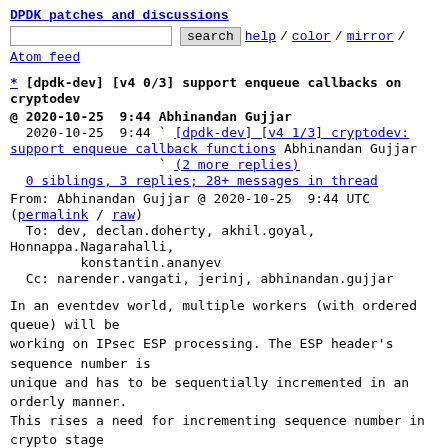DPDK patches and discussions
search  help / color / mirror / Atom feed
* [dpdk-dev] [v4 0/3] support enqueue callbacks on cryptodev
@ 2020-10-25  9:44 Abhinandan Gujjar
  2020-10-25  9:44 ` [dpdk-dev] [v4 1/3] cryptodev: support enqueue callback functions Abhinandan Gujjar
                   ` (2 more replies)
  0 siblings, 3 replies; 28+ messages in thread
From: Abhinandan Gujjar @ 2020-10-25  9:44 UTC (permalink / raw)
  To: dev, declan.doherty, akhil.goyal, Honnappa.Nagarahalli,
          konstantin.ananyev
  Cc: narender.vangati, jerinj, abhinandan.gujjar
In an eventdev world, multiple workers (with ordered queue) will be
working on IPsec ESP processing. The ESP header's sequence number is
unique and has to be sequentially incremented in an orderly manner.
This rises a need for incrementing sequence number in crypto stage
especially in event crypto adapter. By adding a user callback to
cryptodev at enqueue burst, the user callback will get